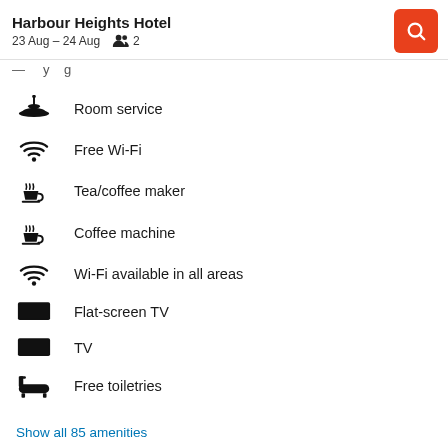Harbour Heights Hotel | 23 Aug – 24 Aug | 2 guests
— (partially visible text)
Room service
Free Wi-Fi
Tea/coffee maker
Coffee machine
Wi-Fi available in all areas
Flat-screen TV
TV
Free toiletries
Show all 85 amenities